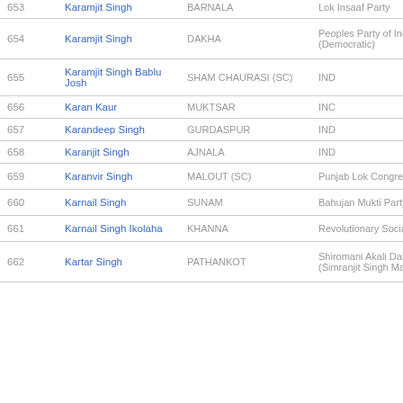| No. | Name | Constituency | Party |
| --- | --- | --- | --- |
| 653 | Karamjit Singh | BARNALA | Lok Insaaf Party |
| 654 | Karamjit Singh | DAKHA | Peoples Party of India (Democratic) |
| 655 | Karamjit Singh Bablu Josh | SHAM CHAURASI (SC) | IND |
| 656 | Karan Kaur | MUKTSAR | INC |
| 657 | Karandeep Singh | GURDASPUR | IND |
| 658 | Karanjit Singh | AJNALA | IND |
| 659 | Karanvir Singh | MALOUT (SC) | Punjab Lok Congress Party |
| 660 | Karnail Singh | SUNAM | Bahujan Mukti Party |
| 661 | Karnail Singh Ikolaha | KHANNA | Revolutionary Socialist Party |
| 662 | Kartar Singh | PATHANKOT | Shiromani Akali Dal (Amritsar) (Simranjit Singh Mann) |